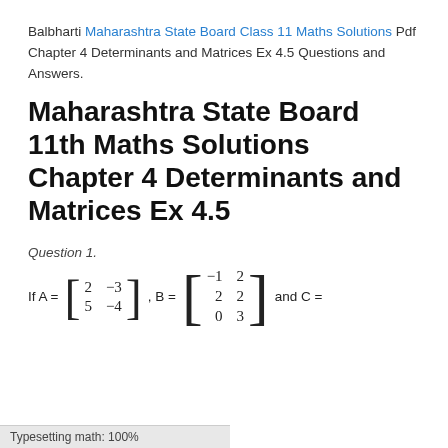Balbharti Maharashtra State Board Class 11 Maths Solutions Pdf Chapter 4 Determinants and Matrices Ex 4.5 Questions and Answers.
Maharashtra State Board 11th Maths Solutions Chapter 4 Determinants and Matrices Ex 4.5
Question 1.